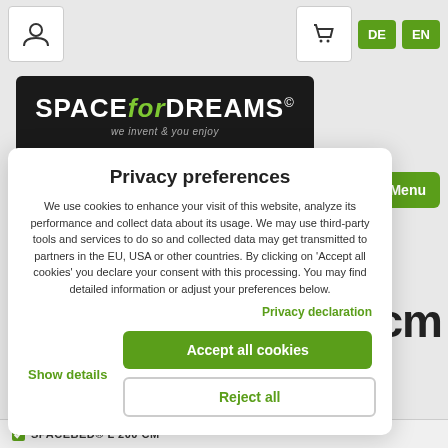Navigation bar with user icon, cart icon, DE and EN language buttons
[Figure (logo): SPACE for DREAMS logo with tagline 'we invent & you enjoy' on dark background]
Privacy preferences
We use cookies to enhance your visit of this website, analyze its performance and collect data about its usage. We may use third-party tools and services to do so and collected data may get transmitted to partners in the EU, USA or other countries. By clicking on 'Accept all cookies' you declare your consent with this processing. You may find detailed information or adjust your preferences below.
Privacy declaration
Show details
Accept all cookies
Reject all
200cm
≡ Menu
SPACEBED® L 200 CM